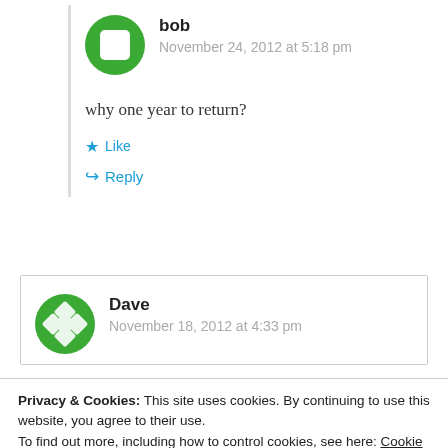bob
November 24, 2012 at 5:18 pm
why one year to return?
Like
Reply
Dave
November 18, 2012 at 4:33 pm
Privacy & Cookies: This site uses cookies. By continuing to use this website, you agree to their use.
To find out more, including how to control cookies, see here: Cookie Policy
Close and accept
and they have plenty of it. This is not the migrane